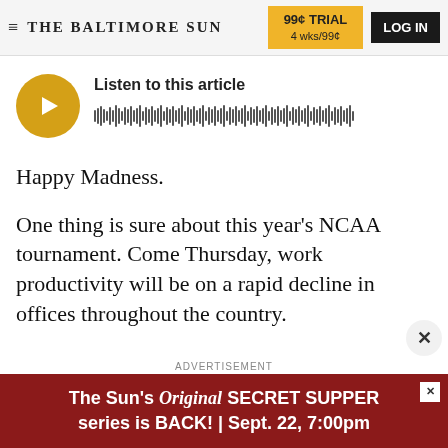THE BALTIMORE SUN | 99¢ TRIAL 4 wks/99¢ | LOG IN
[Figure (other): Audio player widget with golden play button and waveform visualization with label 'Listen to this article']
Happy Madness.
One thing is sure about this year's NCAA tournament. Come Thursday, work productivity will be on a rapid decline in offices throughout the country.
ADVERTISEMENT
[Figure (infographic): Advertisement banner: The Sun's Original SECRET SUPPER series is BACK! | Sept. 22, 7:00pm]